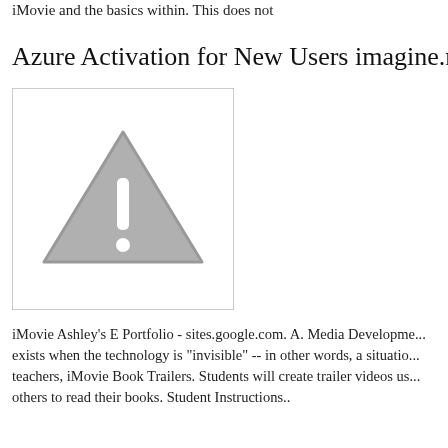iMovie and the basics within. This does not
Azure Activation for New Users imagine.micr
[Figure (illustration): A warning/caution icon: a grey triangle with an exclamation mark inside, displayed in a white bordered box.]
iMovie Ashley's E Portfolio - sites.google.com. A. Media Developme... exists when the technology is "invisible" -- in other words, a situatio... teachers, iMovie Book Trailers. Students will create trailer videos us... others to read their books. Student Instructions..